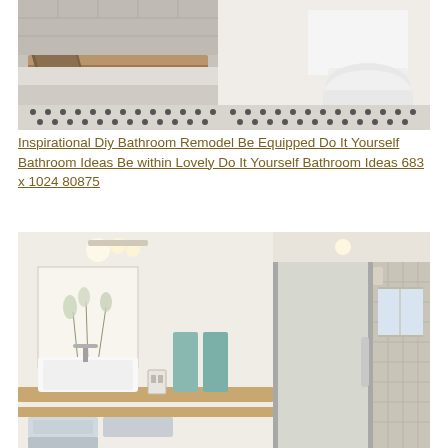[Figure (photo): Bathroom photo showing a bathtub with wooden caddy tray and a toilet on white/black mosaic tile floor, white subway tile walls]
Inspirational Diy Bathroom Remodel Be Equipped Do It Yourself Bathroom Ideas Be within Lovely Do It Yourself Bathroom Ideas 683 x 1024 80875
[Figure (photo): Two bathroom photos side by side: left shows a modern bathroom with vessel sink on wooden shelf, floral wall art and blue towels; right shows a glass-enclosed shower with mosaic tile walls]